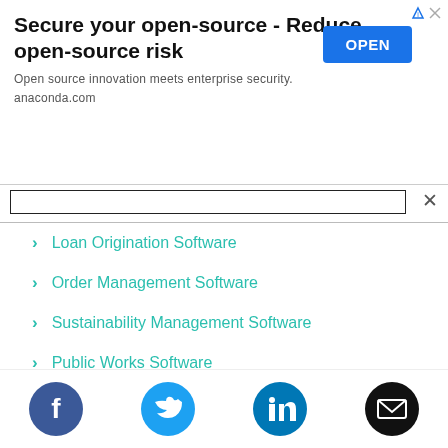[Figure (screenshot): Advertisement banner: 'Secure your open-source - Reduce open-source risk' with OPEN button, subtext 'Open source innovation meets enterprise security. anaconda.com']
[Figure (screenshot): Search bar with close X button]
Loan Origination Software
Order Management Software
Sustainability Management Software
Public Works Software
Physical Security Software
Compliance Management Software
[Figure (infographic): Social media icons row: Facebook, Twitter, LinkedIn, Email]